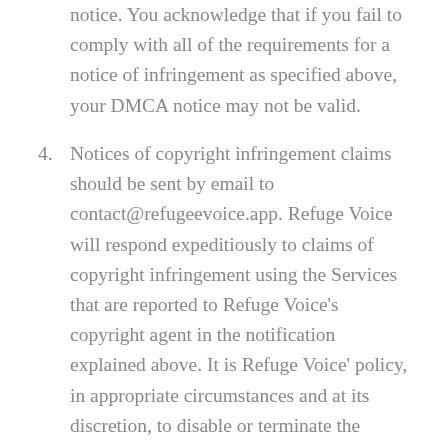notice. You acknowledge that if you fail to comply with all of the requirements for a notice of infringement as specified above, your DMCA notice may not be valid.
4. Notices of copyright infringement claims should be sent by email to contact@refugeevoice.app. Refuge Voice will respond expeditiously to claims of copyright infringement using the Services that are reported to Refuge Voice’s copyright agent in the notification explained above. It is Refuge Voice’ policy, in appropriate circumstances and at its discretion, to disable or terminate the accounts of users who repeatedly infringe copyrights or other intellectual property rights of others.